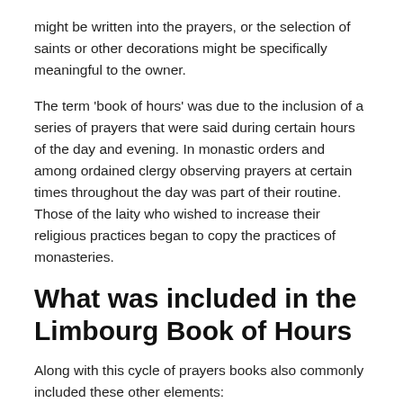might be written into the prayers, or the selection of saints or other decorations might be specifically meaningful to the owner.
The term ‘book of hours’ was due to the inclusion of a series of prayers that were said during certain hours of the day and evening. In monastic orders and among ordained clergy observing prayers at certain times throughout the day was part of their routine. Those of the laity who wished to increase their religious practices began to copy the practices of monasteries.
What was included in the Limbourg Book of Hours
Along with this cycle of prayers books also commonly included these other elements:
A Church Calendar to keep track of saint’s days and feasts